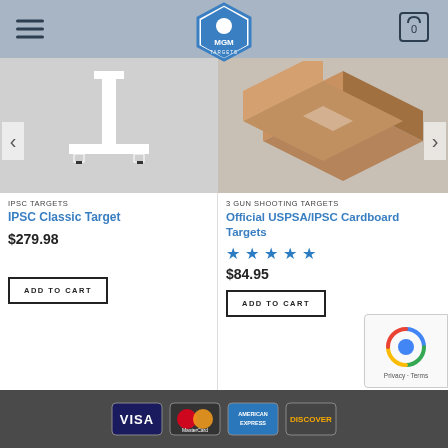[Figure (logo): MGM Targets logo - white pentagon/hexagon shape with blue border and figure, text MGM TARGETS below]
[Figure (photo): IPSC Classic Target - white metal T-shaped target stand on gray background]
IPSC TARGETS
IPSC Classic Target
$279.98
ADD TO CART
[Figure (photo): Official USPSA/IPSC Cardboard Targets - stacked cardboard boxes on gray background]
3 GUN SHOOTING TARGETS
Official USPSA/IPSC Cardboard Targets
[Figure (other): 5-star rating with blue stars]
$84.95
ADD TO CART
[Figure (other): Payment method logos: VISA, MasterCard, American Express, Discover on dark footer bar]
[Figure (other): reCAPTCHA privacy badge with spinning arrows icon, Privacy - Terms text]